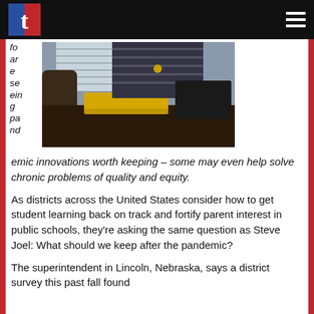t [logo]
are seeing pandemic innovations worth keeping – some may even help solve chronic problems of quality and equity.
[Figure (photo): Student sitting at a dark table working on a tablet/laptop, with a yellow binder and papers on the table, window with blinds in background.]
As districts across the United States consider how to get student learning back on track and fortify parent interest in public schools, they're asking the same question as Steve Joel: What should we keep after the pandemic?
The superintendent in Lincoln, Nebraska, says a district survey this past fall found